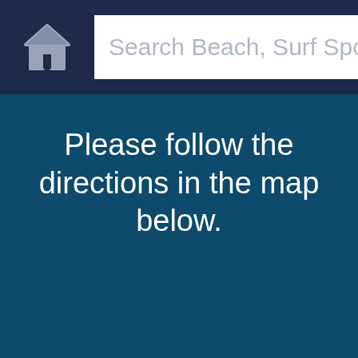[Figure (screenshot): App top navigation bar with a home icon on the left and a search input field on the right reading 'Search Beach, Surf Spot,' (truncated)]
Please follow the directions in the map below.